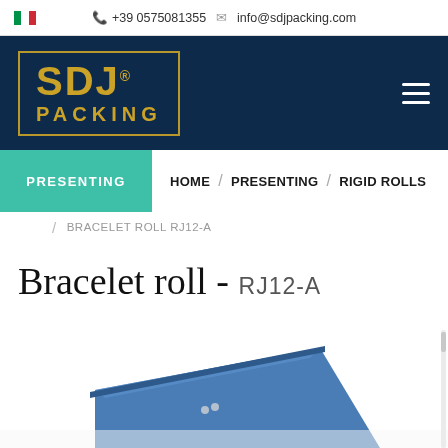+39 0575081355   info@sdjpacking.com
[Figure (logo): SDJ Packing logo — gold text on dark navy background with gold border]
PRESENTING
HOME / PRESENTING / RIGID ROLLS
/ BRACELET ROLL RJ12-A
Bracelet roll - RJ12-A
[Figure (photo): Partial view of a blue bracelet roll product (RJ12-A) showing the top edge and corner of the roll]